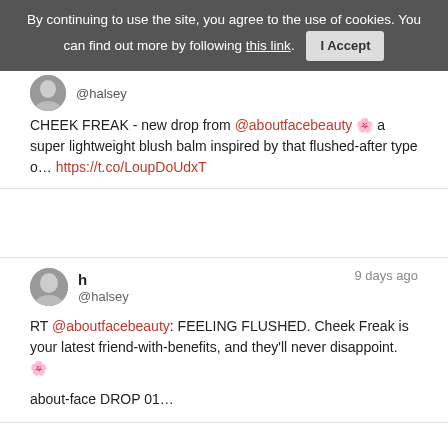By continuing to use the site, you agree to the use of cookies. You can find out more by following this link. I Accept
CHEEK FREAK - new drop from @aboutfacebeauty 🌸 a super lightweight blush balm inspired by that flushed-after type o… https://t.co/LoupDoUdxT
h @halsey — 9 days ago
RT @aboutfacebeauty: FEELING FLUSHED. Cheek Freak is your latest friend-with-benefits, and they'll never disappoint. 🌸

about-face DROP 01…
h @halsey — 14 days ago
Tokyo 🗼🃏 https://t.co/vKOXXadtrz